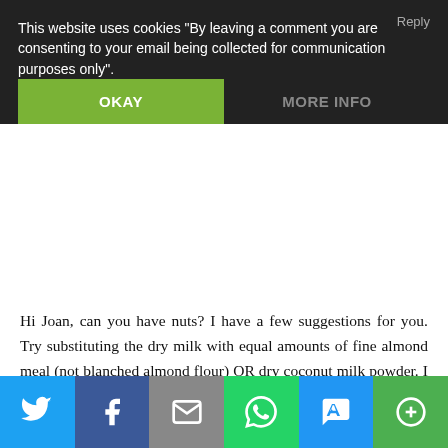This website uses cookies "By leaving a comment you are consenting to your email being collected for communication purposes only".
OKAY
MORE INFO
Hi Joan, can you have nuts? I have a few suggestions for you. Try substituting the dry milk with equal amounts of fine almond meal (not blanched almond flour) OR dry coconut milk powder. I buy coconut milk powder on Amazon and love it. And yes, you should be fine with chia eggs. Regarding liquids- I always start with one cup of water and then add more, if needed, as it mixes. Just remember, it should be very thick and sticky and read the recipe carefully. Enjoy!
[Figure (infographic): Social share bar with Twitter, Facebook, Email, WhatsApp, SMS, and More buttons]